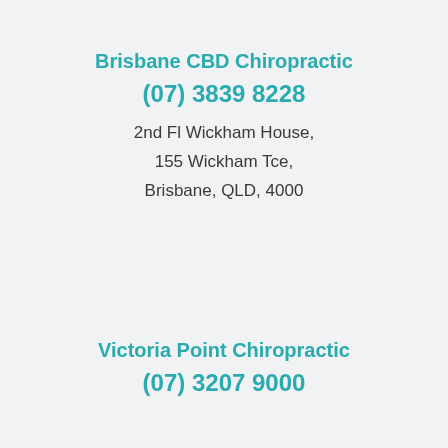Brisbane CBD Chiropractic
(07) 3839 8228
2nd Fl Wickham House,
155 Wickham Tce,
Brisbane, QLD, 4000
Victoria Point Chiropractic
(07) 3207 9000